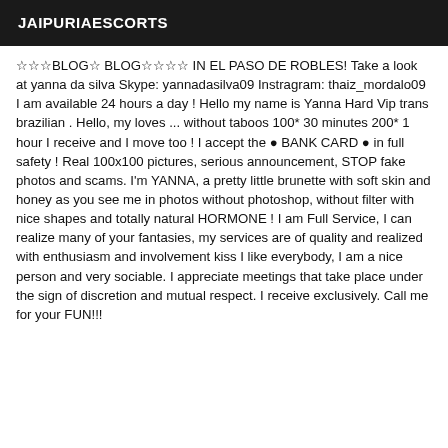JAIPURIAESCORTS
☆☆☆BLOG☆ BLOG☆☆☆☆ IN EL PASO DE ROBLES! Take a look at yanna da silva Skype: yannadasilva09 Instragram: thaiz_mordalo09 I am available 24 hours a day ! Hello my name is Yanna Hard Vip trans brazilian . Hello, my loves ... without taboos 100* 30 minutes 200* 1 hour I receive and I move too ! I accept the ● BANK CARD ● in full safety ! Real 100x100 pictures, serious announcement, STOP fake photos and scams. I'm YANNA, a pretty little brunette with soft skin and honey as you see me in photos without photoshop, without filter with nice shapes and totally natural HORMONE ! I am Full Service, I can realize many of your fantasies, my services are of quality and realized with enthusiasm and involvement kiss I like everybody, I am a nice person and very sociable. I appreciate meetings that take place under the sign of discretion and mutual respect. I receive exclusively. Call me for your FUN!!!